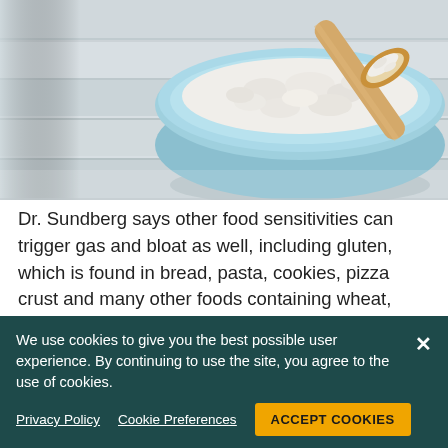[Figure (photo): A blue ceramic bowl filled with white cottage cheese, with a wooden spoon resting in it, on a light wood background.]
Dr. Sundberg says other food sensitivities can trigger gas and bloat as well, including gluten, which is found in bread, pasta, cookies, pizza crust and many other foods containing wheat, barley or rye. Other culprits include legumes (beans, peas and peanuts) and Sorbitol, an artificial sweetener used in many things, including candy and gum.
We use cookies to give you the best possible user experience. By continuing to use the site, you agree to the use of cookies.
Privacy Policy   Cookie Preferences   ACCEPT COOKIES